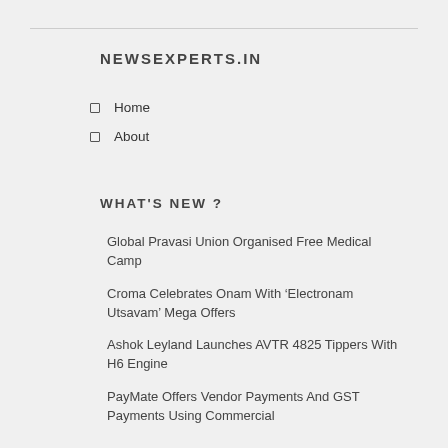NEWSEXPERTS.IN
Home
About
WHAT'S NEW ?
Global Pravasi Union Organised Free Medical Camp
Croma Celebrates Onam With ‘Electronam Utsavam’ Mega Offers
Ashok Leyland Launches AVTR 4825 Tippers With H6 Engine
PayMate Offers Vendor Payments And GST Payments Using Commercial